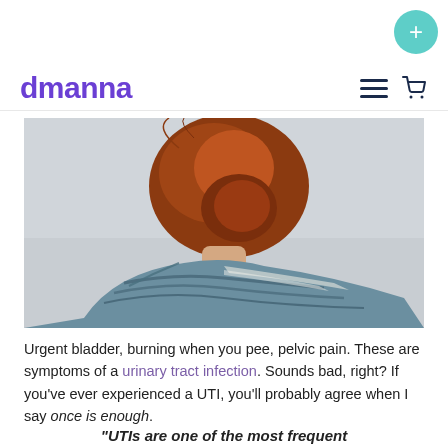+
dmanna
[Figure (photo): Back view of a woman with red hair in an updo, wearing a blue-grey patterned shawl, against a light grey background.]
Urgent bladder, burning when you pee, pelvic pain. These are symptoms of a urinary tract infection. Sounds bad, right? If you've ever experienced a UTI, you'll probably agree when I say once is enough.
“UTIs are one of the most frequent